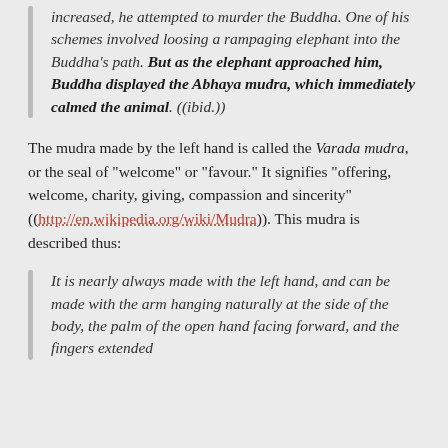increased, he attempted to murder the Buddha. One of his schemes involved loosing a rampaging elephant into the Buddha's path. But as the elephant approached him, Buddha displayed the Abhaya mudra, which immediately calmed the animal. ((ibid.))
The mudra made by the left hand is called the Varada mudra, or the seal of "welcome" or "favour." It signifies "offering, welcome, charity, giving, compassion and sincerity" ((http://en.wikipedia.org/wiki/Mudra)). This mudra is described thus:
It is nearly always made with the left hand, and can be made with the arm hanging naturally at the side of the body, the palm of the open hand facing forward, and the fingers extended